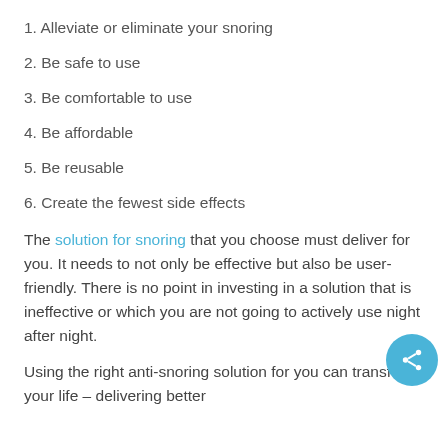1. Alleviate or eliminate your snoring
2. Be safe to use
3. Be comfortable to use
4. Be affordable
5. Be reusable
6. Create the fewest side effects
The solution for snoring that you choose must deliver for you. It needs to not only be effective but also be user-friendly. There is no point in investing in a solution that is ineffective or which you are not going to actively use night after night.
Using the right anti-snoring solution for you can transform your life – delivering better